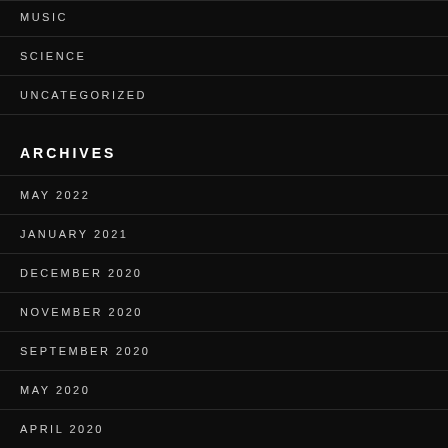MUSIC
SCIENCE
UNCATEGORIZED
ARCHIVES
MAY 2022
JANUARY 2021
DECEMBER 2020
NOVEMBER 2020
SEPTEMBER 2020
MAY 2020
APRIL 2020